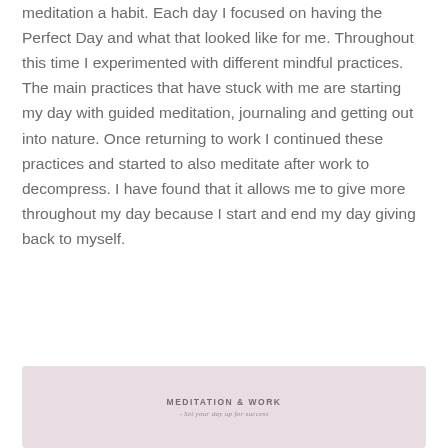meditation a habit. Each day I focused on having the Perfect Day and what that looked like for me. Throughout this time I experimented with different mindful practices. The main practices that have stuck with me are starting my day with guided meditation, journaling and getting out into nature. Once returning to work I continued these practices and started to also meditate after work to decompress. I have found that it allows me to give more throughout my day because I start and end my day giving back to myself.
[Figure (other): A pale pink/mauve card with the heading 'MEDITATION & WORK' and subtitle '- Set your day up for success']